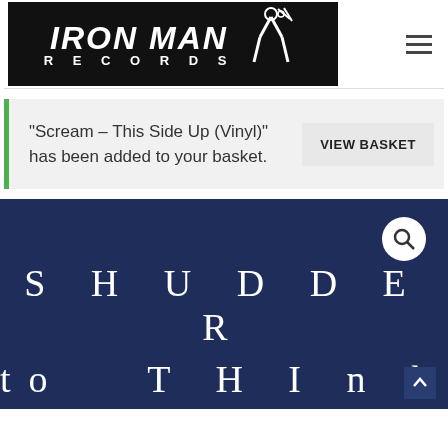[Figure (logo): Iron Man Records logo: black background, bold italic white text 'IRON MAN' above, spaced 'RECORDS' below, with a stylized figure graphic to the right]
“Scream – This Side Up (Vinyl)” has been added to your basket.
VIEW BASKET
[Figure (photo): Dark navy blue background with large spaced white letters spelling 'SHUDDER' on top line and partial 'to THINK' on bottom line, with a white search icon circle in the top right corner]